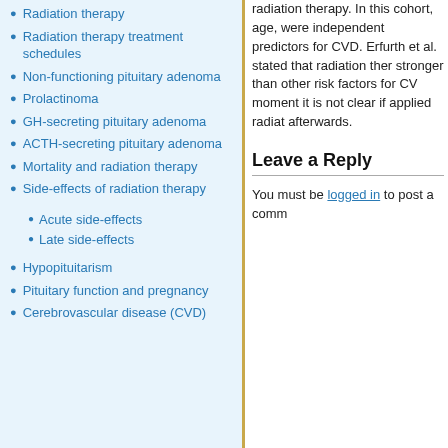Radiation therapy
Radiation therapy treatment schedules
Non-functioning pituitary adenoma
Prolactinoma
GH-secreting pituitary adenoma
ACTH-secreting pituitary adenoma
Mortality and radiation therapy
Side-effects of radiation therapy
Acute side-effects
Late side-effects
Hypopituitarism
Pituitary function and pregnancy
Cerebrovascular disease (CVD)
radiation therapy. In this cohort, age, ... were independent predictors for CVD. Erfurth et al. stated that radiation ther... stronger than other risk factors for CV... moment it is not clear if applied radiat... afterwards.
Leave a Reply
You must be logged in to post a comm...